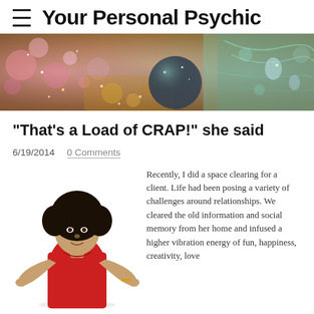Your Personal Psychic
[Figure (photo): Decorative banner photo with colorful bokeh lights and glittery crystal ball on feathers]
"That's a Load of CRAP!" she said
6/19/2014  0 Comments
[Figure (photo): Person in red sleeveless top with arms outstretched in a shrug gesture]
Recently, I did a space clearing for a client.  Life had been posing a variety of challenges around relationships.  We cleared the old information and social memory from her home and infused a higher vibration energy of fun, happiness, creativity, love and forgiveness.  I'm a pretty simple, nuts-and-bolts kind of girl in these